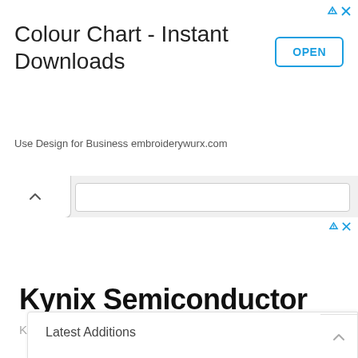[Figure (screenshot): Top advertisement banner for 'Colour Chart - Instant Downloads' from embroiderywurx.com with an OPEN button]
Colour Chart - Instant Downloads
Use Design for Business embroiderywurx.com
[Figure (screenshot): Browser navigation bar with collapse chevron and URL bar]
[Figure (screenshot): Second advertisement area with ad icons]
Kynix Semiconductor
Kynix
Latest Additions